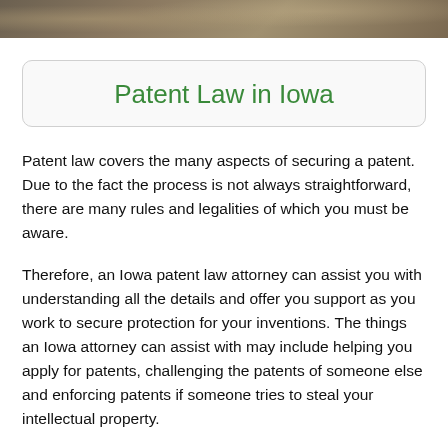[Figure (photo): Decorative photograph banner at top of page showing what appears to be a courthouse or government building facade]
Patent Law in Iowa
Patent law covers the many aspects of securing a patent. Due to the fact the process is not always straightforward, there are many rules and legalities of which you must be aware.
Therefore, an Iowa patent law attorney can assist you with understanding all the details and offer you support as you work to secure protection for your inventions. The things an Iowa attorney can assist with may include helping you apply for patents, challenging the patents of someone else and enforcing patents if someone tries to steal your intellectual property.